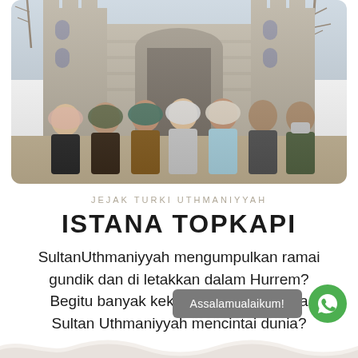[Figure (photo): Group of people posing in front of a historical stone castle/gate building, some wearing hijabs and winter clothing, outdoors with bare trees visible]
JEJAK TURKI UTHMANIYYAH
ISTANA TOPKAPI
SultanUthmaniyyah mengumpulkan ramai gundik dan di letakkan dalam Hurrem? Begitu banyak kekayaan, adakah para Sultan Uthmaniyyah mencintai dunia?
Assalamualaikum!